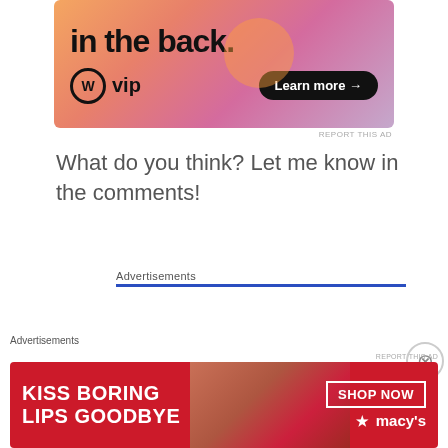[Figure (illustration): WordPress VIP advertisement banner with gradient orange-pink-purple background. Shows bold text 'in the back.' at top, WordPress VIP logo on left, 'Learn more →' black pill button on right.]
REPORT THIS AD
What do you think? Let me know in the comments!
Advertisements
[Figure (illustration): Pressable advertisement. Shows Pressable logo (blue P icon with 'Pressable' text), dots row, then large bold text 'The Platform Where WordPress Works Best' with 'WordPress' and 'Best' in blue.]
Advertisements
[Figure (illustration): Macy's advertisement banner on red background showing a woman's face with red lips. Left side text: 'KISS BORING LIPS GOODBYE'. Right side: 'SHOP NOW' box button and Macy's star logo.]